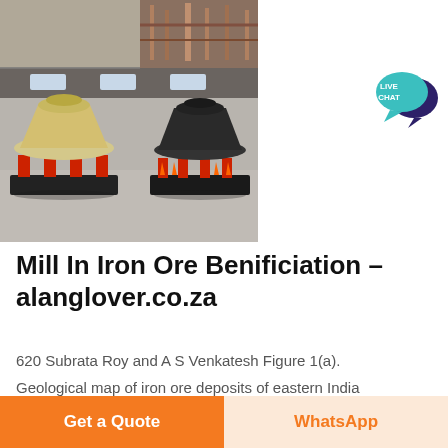[Figure (photo): Industrial mining machinery — cone crushers in a large factory/warehouse interior. Two large cone crusher machines visible: one yellow/cream colored on the left, one black on the right. Background shows industrial building with skylights and red equipment visible in an upper inset photo.]
[Figure (illustration): Live Chat badge — teal/blue speech bubble icon with dark purple chat bubble overlap, text reading LIVE CHAT in white.]
Mill In Iron Ore Benificiation - alanglover.co.za
620 Subrata Roy and A S Venkatesh Figure 1(a).
Geological map of iron ore deposits of eastern India
Get a Quote
WhatsApp